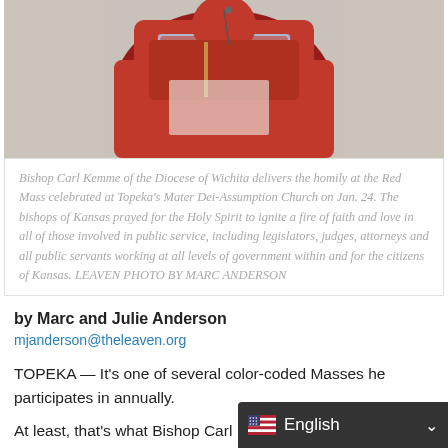[Figure (photo): Photo of Bishop Carl Kemme in red vestments at a clear glass/acrylic lectern or podium, delivering the homily at the Red Mass.]
Bishop Carl Kemme of the Diocese of Wichita delivers the homily at the Red Mass celebrated at Topeka's Mater Dei-Assumption Church on Jan. 24. The bishops of Kansas prayed for the Holy Spirit to ignite a fire of faith and love in all of those involved in public service, including legislators, judges, attorneys and all public servants working at all levels of government within and for the citizens of Kansas. LEAVEN PHOTO BY MARC ANDERSON
by Marc and Julie Anderson
mjanderson@theleaven.org
TOPEKA — It's one of several color-coded Masses he participates in annually.
At least, that's what Bishop Carl